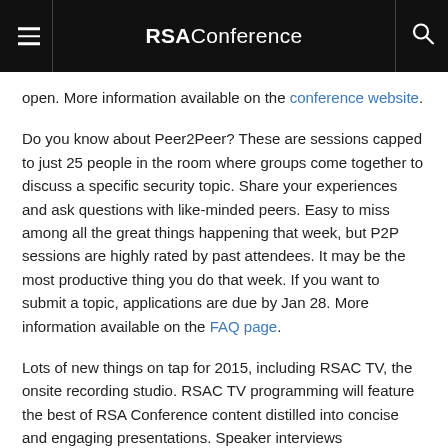RSAConference
open. More information available on the conference website.
Do you know about Peer2Peer? These are sessions capped to just 25 people in the room where groups come together to discuss a specific security topic. Share your experiences and ask questions with like-minded peers. Easy to miss among all the great things happening that week, but P2P sessions are highly rated by past attendees. It may be the most productive thing you do that week. If you want to submit a topic, applications are due by Jan 28. More information available on the FAQ page.
Lots of new things on tap for 2015, including RSAC TV, the onsite recording studio. RSAC TV programming will feature the best of RSA Conference content distilled into concise and engaging presentations. Speaker interviews